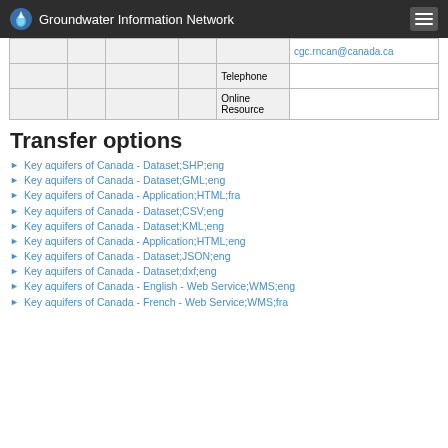Groundwater Information Network
|  |  |  |  | cgc.rncan@canada.ca |  |
|  |  |  |  | Telephone |  |
|  |  |  |  | Online Resource |  |
Transfer options
Key aquifers of Canada - Dataset;SHP;eng
Key aquifers of Canada - Dataset;GML;eng
Key aquifers of Canada - Application;HTML;fra
Key aquifers of Canada - Dataset;CSV;eng
Key aquifers of Canada - Dataset;KML;eng
Key aquifers of Canada - Application;HTML;eng
Key aquifers of Canada - Dataset;JSON;eng
Key aquifers of Canada - Dataset;dxf;eng
Key aquifers of Canada - English - Web Service;WMS;eng
Key aquifers of Canada - French - Web Service;WMS;fra